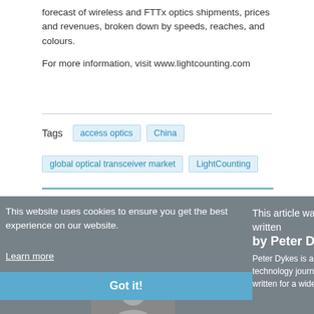forecast of wireless and FTTx optics shipments, prices and revenues, broken down by speeds, reaches, and colours.
For more information, visit www.lightcounting.com
Tags   access optics   China   global optical transceiver market   LightCounting
This website uses cookies to ensure you get the best experience on our website.
Learn more
Got it!
This article was written by Peter Dykes
Peter Dykes is a independent telecoms and technology journalist who has over that last 30 years written for a wide range of B2B publications